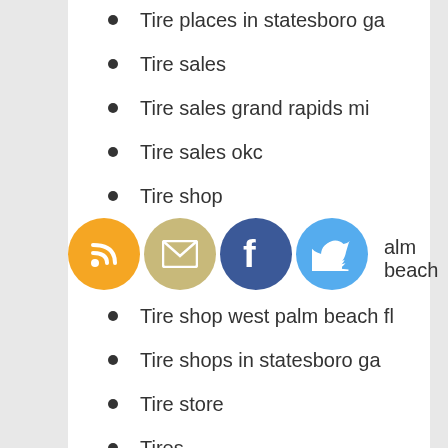Tire places in statesboro ga
Tire sales
Tire sales grand rapids mi
Tire sales okc
Tire shop
Tire shop west palm beach
Tire shop west palm beach fl
Tire shops in statesboro ga
Tire store
Tires
Tires for sale
Tires in madison wi